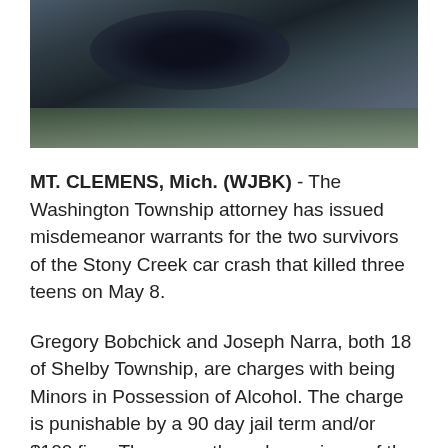[Figure (photo): Dark photo showing what appears to be a vehicle in water or near a creek, with rocky/gravelly terrain visible]
MT. CLEMENS, Mich. (WJBK) - The Washington Township attorney has issued misdemeanor warrants for the two survivors of the Stony Creek car crash that killed three teens on May 8.
Gregory Bobchick and Joseph Narra, both 18 of Shelby Township, are charges with being Minors in Possession of Alcohol. The charge is punishable by a 90 day jail term and/or $100 fine. They were the only survivors of the crash.
The warrant were issued on July 22 and turned over to the 42-1 District Court of Romeo.  Bobchick had a blood